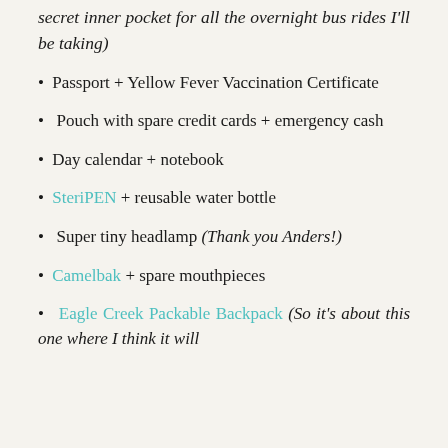secret inner pocket for all the overnight bus rides I'll be taking)
Passport + Yellow Fever Vaccination Certificate
Pouch with spare credit cards + emergency cash
Day calendar + notebook
SteriPEN + reusable water bottle
Super tiny headlamp (Thank you Anders!)
Camelbak + spare mouthpieces
Eagle Creek Packable Backpack (So it's about this one where I think it will